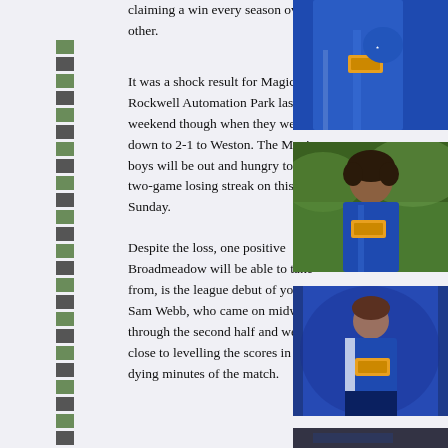claiming a win every season over the other.
It was a shock result for Magic out at Rockwell Automation Park last weekend though when they went down to 2-1 to Weston. The Magic boys will be out and hungry to snap a two-game losing streak on this Sunday.
Despite the loss, one positive Broadmeadow will be able to take from, is the league debut of youngster Sam Webb, who came on midway through the second half and went close to levelling the scores in the dying minutes of the match.
[Figure (photo): Soccer player in blue jersey, upper body cropped, right side column top]
[Figure (photo): Young soccer player with dark curly hair in blue jersey, looking down]
[Figure (photo): Soccer player in blue and white jersey, right side column bottom]